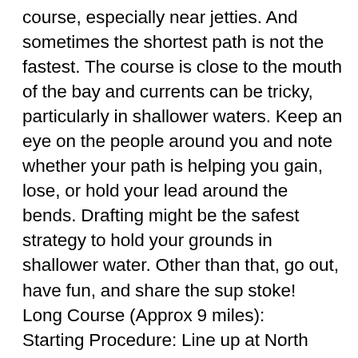course, especially near jetties. And sometimes the shortest path is not the fastest. The course is close to the mouth of the bay and currents can be tricky, particularly in shallower waters. Keep an eye on the people around you and note whether your path is helping you gain, lose, or hold your lead around the bends. Drafting might be the safest strategy to hold your grounds in shallower water. Other than that, go out, have fun, and share the sup stoke! Long Course (Approx 9 miles): Starting Procedure: Line up at North Jetty heading North. Start will be a horn blast from Escort Boat. Please No Running Starts. You'll be wrecking the